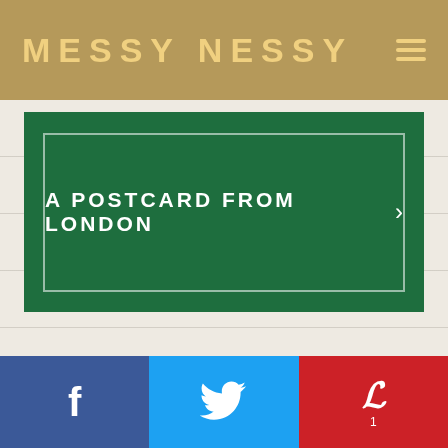MESSY NESSY
A POSTCARD FROM LONDON
[Figure (other): Facebook share button with 'f' icon]
[Figure (other): Twitter share button with bird icon]
[Figure (other): Pinterest save button with 'P' icon and count of 1]